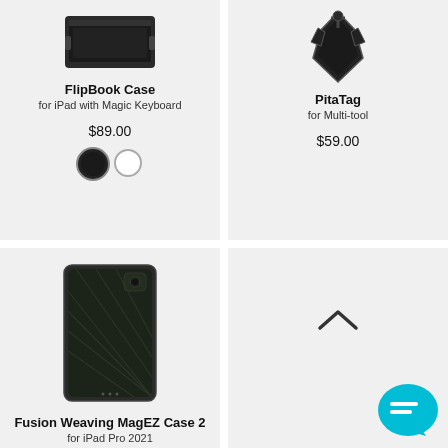[Figure (photo): FlipBook Case product card showing a dark case for iPad with Magic Keyboard. Price $89.00 with black and white color swatches.]
FlipBook Case
for iPad with Magic Keyboard
$89.00
[Figure (photo): PitaTag product card showing a multi-tool accessory. Price $59.00.]
PitaTag
for Multi-tool
$59.00
[Figure (photo): Fusion Weaving MagEZ Case 2 product card showing a dark woven case for iPad Pro 2021.]
Fusion Weaving MagEZ Case 2
for iPad Pro 2021
[Figure (other): Up chevron navigation arrow and teal chat bubble icon in the bottom-right card area.]